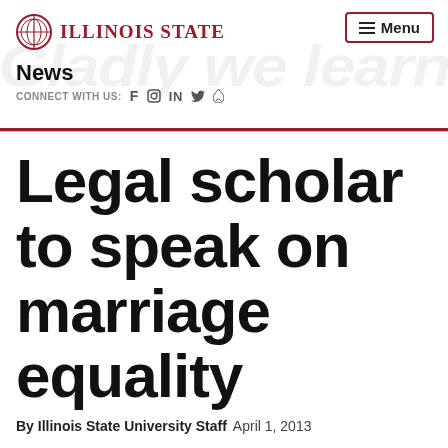[Figure (logo): Illinois State University logo with circular emblem and text 'Illinois State' in red serif font]
News
CONNECT WITH US: f  in
Legal scholar to speak on marriage equality
By Illinois State University Staff  April 1, 2013